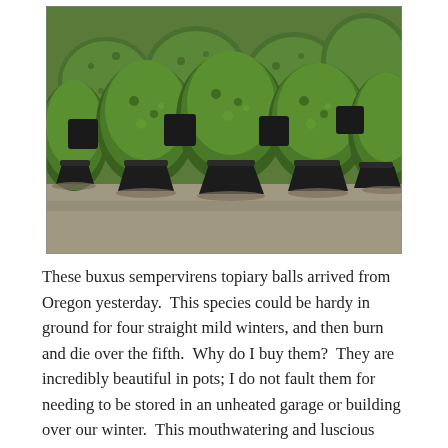[Figure (photo): A row of buxus sempervirens (boxwood) topiary balls trimmed into round spherical shapes, planted in black plastic nursery pots, arranged on a gravel surface outdoors. The plants are dense, lush green, and uniform in shape.]
These buxus sempervirens topiary balls arrived from Oregon yesterday.  This species could be hardy in ground for four straight mild winters, and then burn and die over the fifth.  Why do I buy them?  They are incredibly beautiful in pots; I do not fault them for needing to be stored in an unheated garage or building over our winter.  This mouthwatering and luscious green sculpture in April-I cannot take my winter weary eyes off these plants.  I have a pair that have been in giant